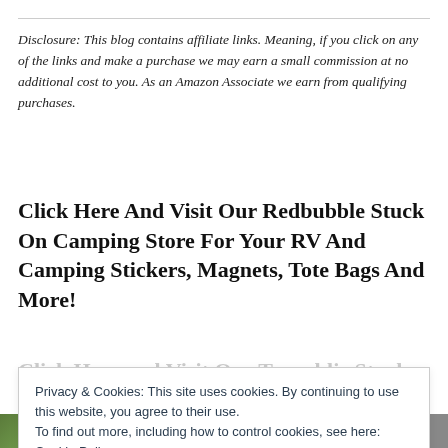Disclosure: This blog contains affiliate links. Meaning, if you click on any of the links and make a purchase we may earn a small commission at no additional cost to you. As an Amazon Associate we earn from qualifying purchases.
Click Here And Visit Our Redbubble Stuck On Camping Store For Your RV And Camping Stickers, Magnets, Tote Bags And More!
Click Here and Visit Our Teepublic Stuck On Camping S...
Privacy & Cookies: This site uses cookies. By continuing to use this website, you agree to their use.
To find out more, including how to control cookies, see here:
Cookie Policy
Close and accept
[Figure (photo): Partial bottom strip showing a photo of camping/outdoor scene on the left and a banner/advertisement on the right]